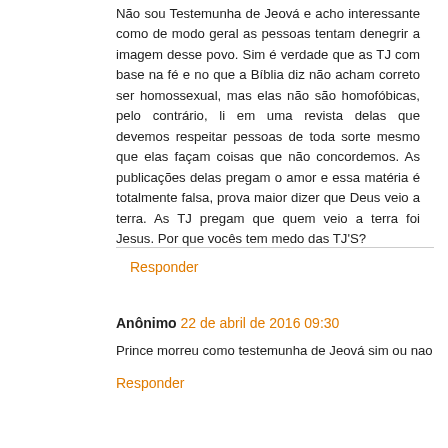Não sou Testemunha de Jeová e acho interessante como de modo geral as pessoas tentam denegrir a imagem desse povo. Sim é verdade que as TJ com base na fé e no que a Bíblia diz não acham correto ser homossexual, mas elas não são homofóbicas, pelo contrário, li em uma revista delas que devemos respeitar pessoas de toda sorte mesmo que elas façam coisas que não concordemos. As publicações delas pregam o amor e essa matéria é totalmente falsa, prova maior dizer que Deus veio a terra. As TJ pregam que quem veio a terra foi Jesus. Por que vocês tem medo das TJ'S?
Responder
Anônimo 22 de abril de 2016 09:30
Prince morreu como testemunha de Jeová sim ou nao
Responder